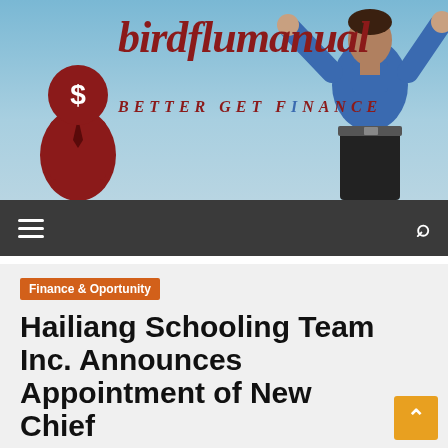[Figure (logo): birdflumanual website header banner with logo icon (person silhouette with dollar sign head and red suit), site name 'birdflumanual' in dark red italic serif font, tagline 'BETTER GET FINANCE' in dark red spaced italic serif font, background showing blue sky and a person in blue shirt with arms raised]
birdflumanual BETTER GET FINANCE
Finance & Oportunity
Hailiang Schooling Team Inc. Announces Appointment of New Chief